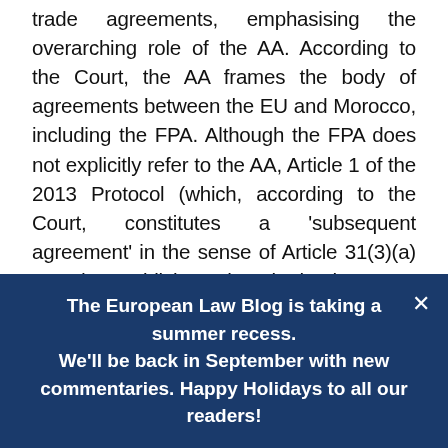trade agreements, emphasising the overarching role of the AA. According to the Court, the AA frames the body of agreements between the EU and Morocco, including the FPA. Although the FPA does not explicitly refer to the AA, Article 1 of the 2013 Protocol (which, according to the Court, constitutes a 'subsequent agreement' in the sense of Article 31(3)(a) VCLT) establishes that both the 2013 Protocol and the FPA form part of the AA. Logically, then, the Court relied on the (limited) interpretation of 'territory of Morocco' of Article 94 AA in Front Polisario to
The European Law Blog is taking a summer recess. We'll be back in September with new commentaries. Happy Holidays to all our readers!